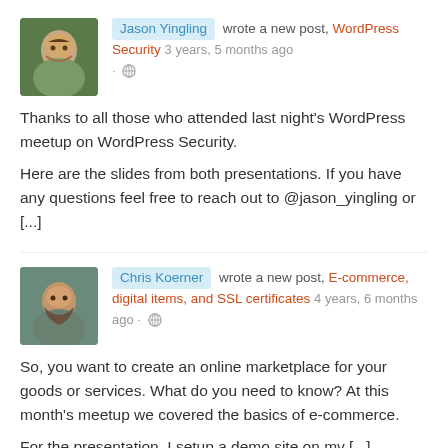[Figure (photo): Avatar photo of Jason Yingling, a man smiling outdoors]
Jason Yingling wrote a new post, WordPress Security 3 years, 5 months ago
Thanks to all those who attended last night's WordPress meetup on WordPress Security.
Here are the slides from both presentations. If you have any questions feel free to reach out to @jason_yingling or [...]
[Figure (photo): Avatar photo of Chris Koerner, a man with a beard]
Chris Koerner wrote a new post, E-commerce, digital items, and SSL certificates 4 years, 6 months ago
So, you want to create an online marketplace for your goods or services. What do you need to know? At this month's meetup we covered the basics of e-commerce.
For the presentation, I setup a demo site on my [...]
[Figure (photo): Partial avatar photo of Chris Koerner at bottom]
Chris Koerner wrote a new post, What the heck is PHP? 4 years, 6 months